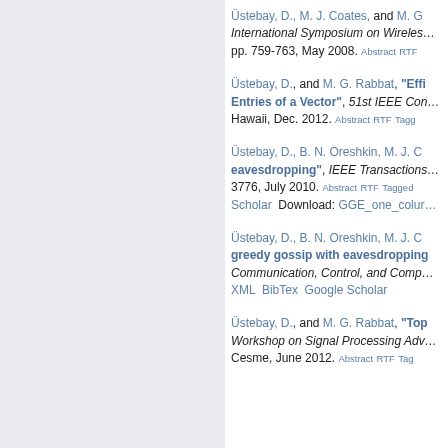Üstebay, D., M. J. Coates, and M. G. … International Symposium on Wireless… pp. 759-763, May 2008. Abstract RTF
Üstebay, D., and M. G. Rabbat, "Efficient Estimation of the Number of Nonzero Entries of a Vector", 51st IEEE Con… Hawaii, Dec. 2012. Abstract RTF Tagged
Üstebay, D., B. N. Oreshkin, M. J. C… eavesdropping", IEEE Transactions… 3776, July 2010. Abstract RTF Tagged… Scholar Download: GGE_one_colum…
Üstebay, D., B. N. Oreshkin, M. J. C… greedy gossip with eavesdropping… Communication, Control, and Comp… XML BibTex Google Scholar
Üstebay, D., and M. G. Rabbat, "Top… Workshop on Signal Processing Adv… Cesme, June 2012. Abstract RTF Tag…